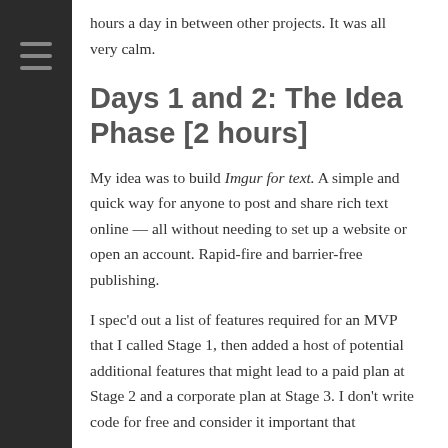hours a day in between other projects. It was all very calm.
Days 1 and 2: The Idea Phase [2 hours]
My idea was to build Imgur for text. A simple and quick way for anyone to post and share rich text online — all without needing to set up a website or open an account. Rapid-fire and barrier-free publishing.
I spec'd out a list of features required for an MVP that I called Stage 1, then added a host of potential additional features that might lead to a paid plan at Stage 2 and a corporate plan at Stage 3. I don't write code for free and consider it important that